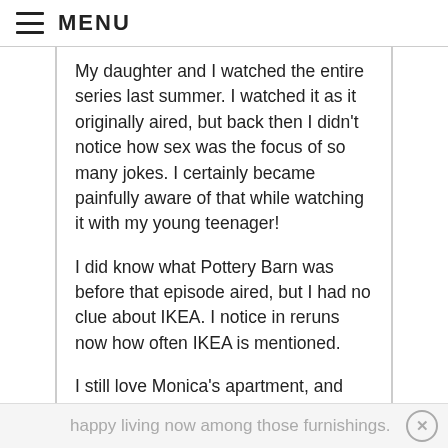≡ MENU
My daughter and I watched the entire series last summer. I watched it as it originally aired, but back then I didn't notice how sex was the focus of so many jokes. I certainly became painfully aware of that while watching it with my young teenager!
I did know what Pottery Barn was before that episode aired, but I had no clue about IKEA. I notice in reruns now how often IKEA is mentioned.
I still love Monica's apartment, and while I wouldn't say the look is timeless, it certainly doesn't look dated to me. I would be very happy living now among those furnishings.